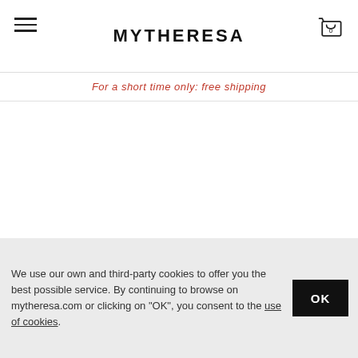MYTHERESA
For a short time only: free shipping
LOEWE
AU$ 3,100
CELINE EYEWEAR
AU$ 600
NEW ARRIVAL
NEW ARRIVAL
[Figure (photo): Partial view of blue denim jeans]
We use our own and third-party cookies to offer you the best possible service. By continuing to browse on mytheresa.com or clicking on "OK", you consent to the use of cookies.